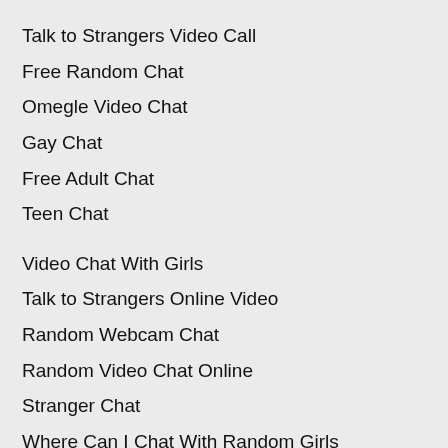Talk to Strangers Video Call
Free Random Chat
Omegle Video Chat
Gay Chat
Free Adult Chat
Teen Chat
Video Chat With Girls
Talk to Strangers Online Video
Random Webcam Chat
Random Video Chat Online
Stranger Chat
Where Can I Chat With Random Girls
Gay Cam
Random Cam Chat